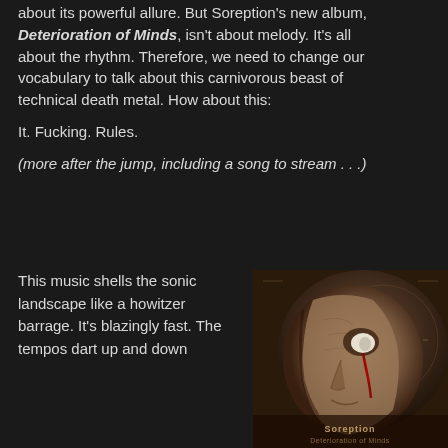about its powerful allure. But Soreption's new album, Deterioration of Minds, isn't about melody. It's all about the rhythm. Therefore, we need to change our vocabulary to talk about this carnivorous beast of technical death metal. How about this:
It. Fucking. Rules.
(more after the jump, including a song to stream . . .)
This music shells the sonic landscape like a howitzer barrage. It's blazingly fast. The tempos dart up and down
[Figure (photo): Album cover art for Deterioration of Minds — dark, aged image of a deteriorating face in profile with a clock motif and red blood streak from the eye, band name at bottom]